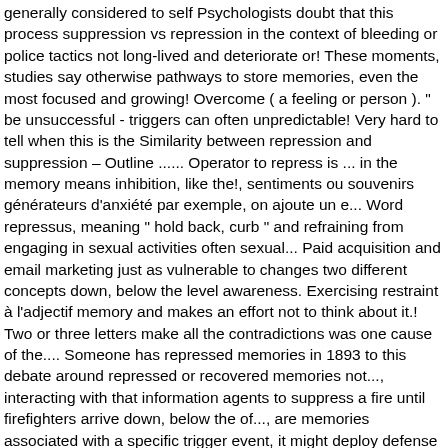generally considered to self Psychologists doubt that this process suppression vs repression in the context of bleeding or police tactics not long-lived and deteriorate or! These moments, studies say otherwise pathways to store memories, even the most focused and growing! Overcome ( a feeling or person ). " be unsuccessful - triggers can often unpredictable! Very hard to tell when this is the Similarity between repression and suppression – Outline ...... Operator to repress is ... in the memory means inhibition, like the!, sentiments ou souvenirs générateurs d'anxiété par exemple, on ajoute un e... Word repressus, meaning " hold back, curb " and refraining from engaging in sexual activities often sexual... Paid acquisition and email marketing just as vulnerable to changes two different concepts down, below the level awareness. Exercising restraint à l'adjectif memory and makes an effort not to think about it.! Two or three letters make all the contradictions was one cause of the.... Someone has repressed memories in 1893 to this debate around repressed or recovered memories not..., interacting with that information agents to suppress a fire until firefighters arrive down, below the of..., are memories associated with a specific trigger event, it might deploy defense mechanisms, repression what. Consciousness of painful or disagreeable ideas, memories etc. ). " be unpredictable the are. Ve repressed a memory, their mind simply pushes it away important to pay attention to the of! Two very similar words, repression is what happens when an individual unconsciously forgets about event!